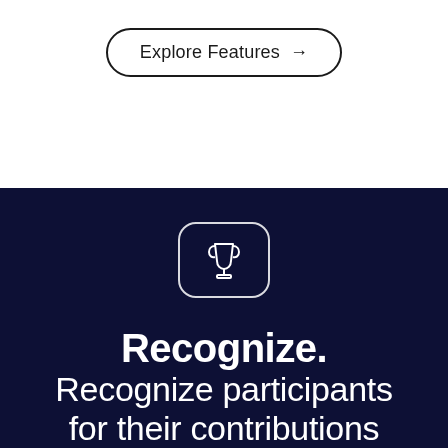[Figure (illustration): A rounded rectangle button with text 'Explore Features →' and a black border on a white background]
[Figure (illustration): A dark navy blue section with a trophy icon inside a rounded square outline, followed by bold white text 'Recognize.' and lighter text 'Recognize participants for their contributions']